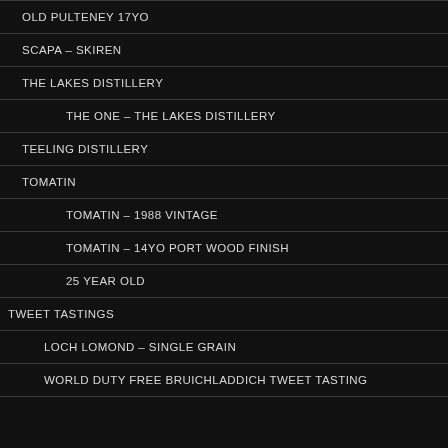OLD PULTENEY 17YO
SCAPA – SKIREN
THE LAKES DISTILLERY
THE ONE – THE LAKES DISTILLERY
TEELING DISTILLERY
TOMATIN
TOMATIN – 1988 VINTAGE
TOMATIN – 14YO PORT WOOD FINISH
25 YEAR OLD
TWEET TASTINGS
LOCH LOMOND – SINGLE GRAIN
WORLD DUTY FREE BRUICHLADDICH TWEET TASTING